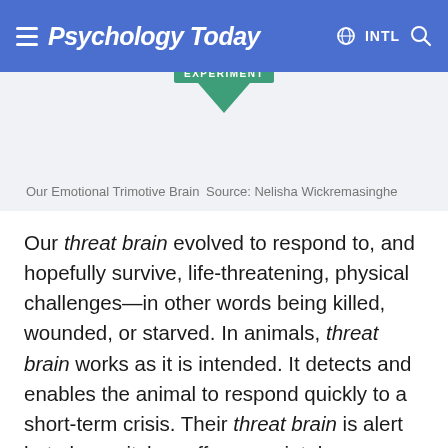Psychology Today  INTL
[Figure (illustration): Partially visible green downward-pointing triangle/arrow with 'EXPERIMENT' label above it, indicating a section of a brain diagram]
Our Emotional Trimotive Brain    Source: Nelisha Wickremasinghe
Our threat brain evolved to respond to, and hopefully survive, life-threatening, physical challenges—in other words being killed, wounded, or starved. In animals, threat brain works as it is intended. It detects and enables the animal to respond quickly to a short-term crisis. Their threat brain is alert but also switches off appropriately. However, as our human brain has evolved and grown, so too has our ability to imagine danger. We conscious creatures are able to create and re-create danger in our minds which triggers the